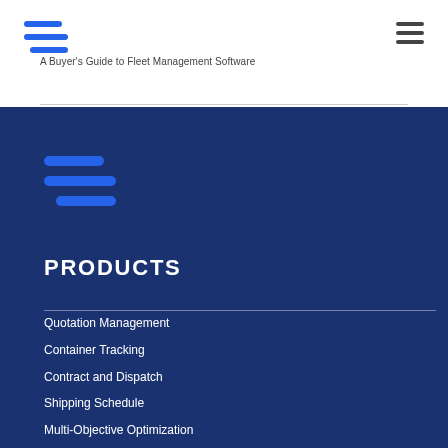[Figure (logo): Blue stylized G logo in header]
[Figure (other): Hamburger menu icon in top right]
A Buyer's Guide to Fleet Management Software
[Figure (logo): Blue stylized G logo in footer section]
PRODUCTS
Quotation Management
Container Tracking
Contract and Dispatch
Shipping Schedule
Multi-Objective Optimization
Data Analytics and Reporting